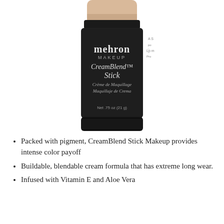[Figure (photo): A makeup stick product by Mehron. The stick has a black cylindrical container with ridged cap. The top shows a skin-tone beige colored makeup stick extended out. The label reads: mehron MAKEUP CreamBlend™ Stick Crème de Maquillage Maquillaje de Crema Net .75 oz (21 g). Partial side label also visible.]
Packed with pigment, CreamBlend Stick Makeup provides intense color payoff
Buildable, blendable cream formula that has extreme long wear.
Infused with Vitamin E and Aloe Vera